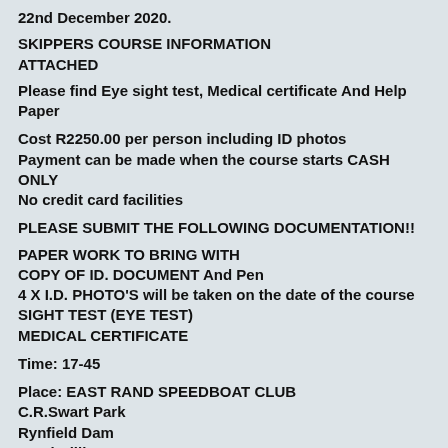22nd December 2020.
SKIPPERS COURSE INFORMATION ATTACHED
Please find Eye sight test, Medical certificate And Help Paper
Cost R2250.00 per person including ID photos
Payment can be made when the course starts CASH ONLY
No credit card facilities
PLEASE SUBMIT THE FOLLOWING DOCUMENTATION!!
PAPER WORK TO BRING WITH
COPY OF ID. DOCUMENT And Pen
4 X I.D. PHOTO'S will be taken on the date of the course
SIGHT TEST (EYE TEST)
MEDICAL CERTIFICATE
Time: 17-45
Place: EAST RAND SPEEDBOAT CLUB
C.R.Swart Park
Rynfield Dam
Sarel Cilliers Street
Benoni